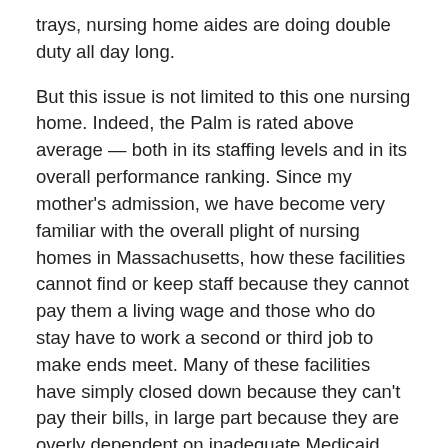trays, nursing home aides are doing double duty all day long.
But this issue is not limited to this one nursing home. Indeed, the Palm is rated above average — both in its staffing levels and in its overall performance ranking. Since my mother's admission, we have become very familiar with the overall plight of nursing homes in Massachusetts, how these facilities cannot find or keep staff because they cannot pay them a living wage and those who do stay have to work a second or third job to make ends meet. Many of these facilities have simply closed down because they can't pay their bills, in large part because they are overly dependent on inadequate Medicaid funding that supports nearly three out of four residents.Our family has lived a middle-class life with a solid ethic of family, hard work and involvement in our community and church. After the last of her children had graduated from high